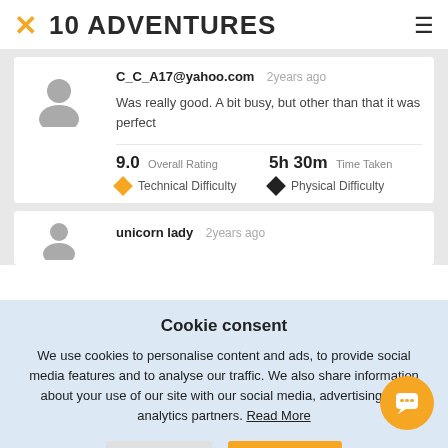[Figure (logo): 10 Adventures logo with yellow X and bold text]
C_C_A17@yahoo.com  2years ago
Was really good. A bit busy, but other than that it was perfect
9.0 Overall Rating   5h 30m Time Taken
Technical Difficulty   Physical Difficulty
unicorn lady  2years ago
Cookie consent
We use cookies to personalise content and ads, to provide social media features and to analyse our traffic. We also share information about your use of our site with our social media, advertising and analytics partners. Read More
Reject   Accept